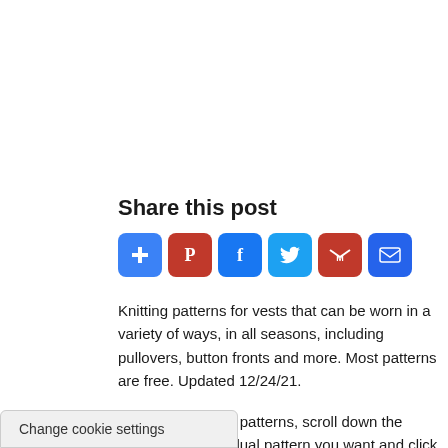Share this post
[Figure (infographic): Row of 6 social sharing icon buttons: plus (blue), Pinterest (red), Facebook (blue), Twitter (light blue), Gmail (red), Email (blue)]
Knitting patterns for vests that can be worn in a variety of ways, in all seasons, including pullovers, button fronts and more. Most patterns are free. Updated 12/24/21.
To get the knitting patterns, scroll down the page to the individual pattern you want and click on the link ern.
Change cookie settings